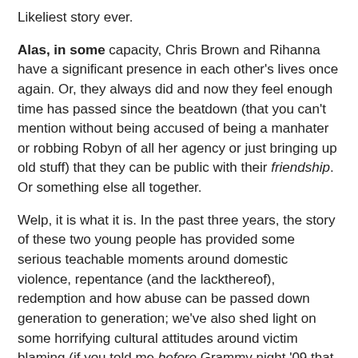Likeliest story ever.
Alas, in some capacity, Chris Brown and Rihanna have a significant presence in each other's lives once again. Or, they always did and now they feel enough time has passed since the beatdown (that you can't mention without being accused of being a manhater or robbing Robyn of all her agency or just bringing up old stuff) that they can be public with their friendship. Or something else all together.
Welp, it is what it is. In the past three years, the story of these two young people has provided some serious teachable moments around domestic violence, repentance (and the lackthereof), redemption and how abuse can be passed down generation to generation; we've also shed light on some horrifying cultural attitudes around victim blaming (if you told me before Grammy night '09 that so many people thought of West Indian women as fiesty-to-the-point-of-deserving-a-beatdown, I would not have believed you) and accountability.